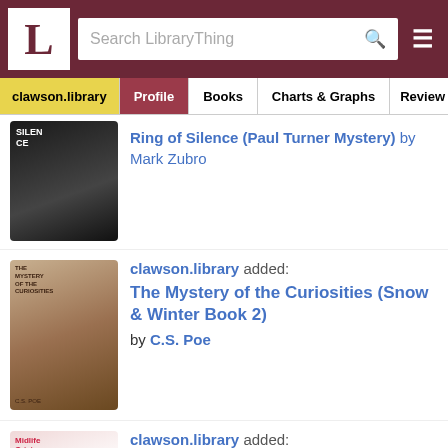LibraryThing header with logo, search bar, and hamburger menu
clawson.library | Profile | Books | Charts & Graphs | Review
Ring of Silence (Paul Turner Mystery) by Mark Zubro
clawson.library added: The Mystery of the Curiosities (Snow & Winter Book 2) by C.S. Poe
clawson.library added: Midlife Crisis by Audra North
This site uses cookies to deliver our services, improve performance, for analytics, and (if not signed in) for advertising. By using LibraryThing you acknowledge that you have read and understand our Terms of Service and Privacy Policy. Your use of the site and services is subject to these policies and terms.